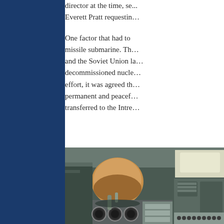director at the time, se... Everett Pratt requesting...
One factor that had to... missile submarine. The... and the Soviet Union la... decommissioned nucle... effort, it was agreed th... permanent and peacef... transferred to the Intre...
[Figure (photo): Interior of a submarine showing equipment panels, gauges, dials, controls, and instrumentation in a cramped space with teal/green painted surfaces and various mechanical equipment]